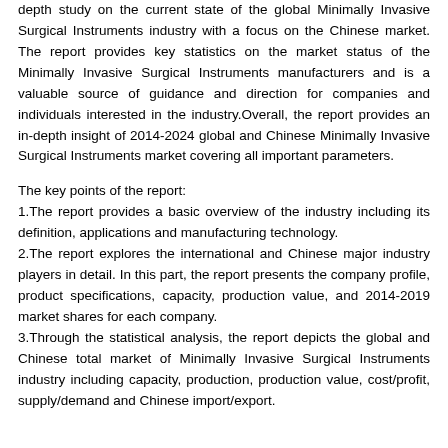depth study on the current state of the global Minimally Invasive Surgical Instruments industry with a focus on the Chinese market. The report provides key statistics on the market status of the Minimally Invasive Surgical Instruments manufacturers and is a valuable source of guidance and direction for companies and individuals interested in the industry.Overall, the report provides an in-depth insight of 2014-2024 global and Chinese Minimally Invasive Surgical Instruments market covering all important parameters.
The key points of the report:
1.The report provides a basic overview of the industry including its definition, applications and manufacturing technology.
2.The report explores the international and Chinese major industry players in detail. In this part, the report presents the company profile, product specifications, capacity, production value, and 2014-2019 market shares for each company.
3.Through the statistical analysis, the report depicts the global and Chinese total market of Minimally Invasive Surgical Instruments industry including capacity, production, production value, cost/profit, supply/demand and Chinese import/export.